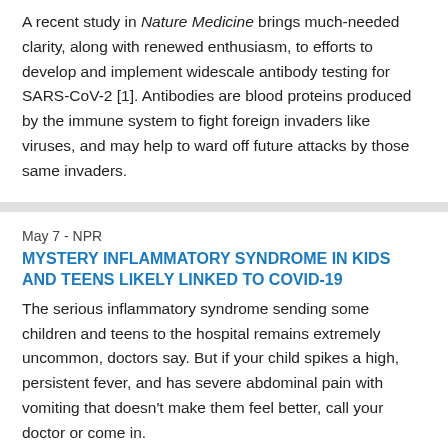A recent study in Nature Medicine brings much-needed clarity, along with renewed enthusiasm, to efforts to develop and implement widescale antibody testing for SARS-CoV-2 [1]. Antibodies are blood proteins produced by the immune system to fight foreign invaders like viruses, and may help to ward off future attacks by those same invaders.
May 7 - NPR
MYSTERY INFLAMMATORY SYNDROME IN KIDS AND TEENS LIKELY LINKED TO COVID-19
The serious inflammatory syndrome sending some children and teens to the hospital remains extremely uncommon, doctors say. But if your child spikes a high, persistent fever, and has severe abdominal pain with vomiting that doesn't make them feel better, call your doctor or come in.